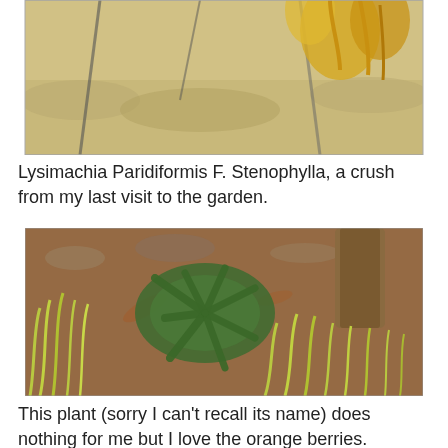[Figure (photo): Partial photo of a plant with yellow flowers against a blurred background, cropped at the top]
Lysimachia Paridiformis F. Stenophylla, a crush from my last visit to the garden.
[Figure (photo): Ground-level photo of low-growing green plants with long narrow leaves spread in rosette patterns, with brown leaf litter and tree trunk visible, growing on a garden floor]
This plant (sorry I can't recall its name) does nothing for me but I love the orange berries.
[Figure (photo): Close-up photo of a plant with broad, strappy leaves arranged in a fan pattern, partially visible at the bottom of the page]